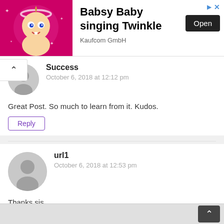[Figure (illustration): Advertisement banner for 'Babsy Baby singing Twinkle' by Kaufcom GmbH with a cartoon baby character on pink background and an Open button]
Babsy Baby singing Twinkle
Kaufcom GmbH
Success
October 6, 2018 at 12:12 pm
Great Post. So much to learn from it. Kudos.
Reply
url1
October 6, 2018 at 12:53 pm
Thanks sis
Reply